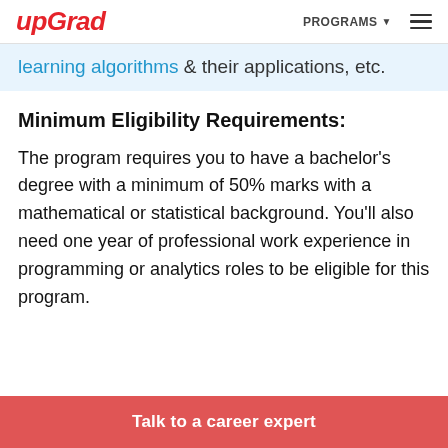upGrad | PROGRAMS ▾ ≡
learning algorithms & their applications, etc.
Minimum Eligibility Requirements:
The program requires you to have a bachelor's degree with a minimum of 50% marks with a mathematical or statistical background. You'll also need one year of professional work experience in programming or analytics roles to be eligible for this program.
Talk to a career expert